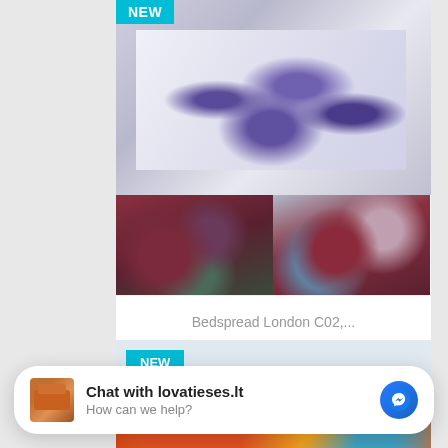[Figure (photo): Product photo of a purple floral patterned bedspread on a bed, with 'NEW' badge in top left corner, and two detail thumbnail images below showing close-up of the bedspread pattern.]
Bedspread London C02,...
€58.00
[Figure (photo): Second product card with 'NEW' badge and partial colorful rug/bedspread image visible at bottom.]
Chat with lovatieses.lt
How can we help?